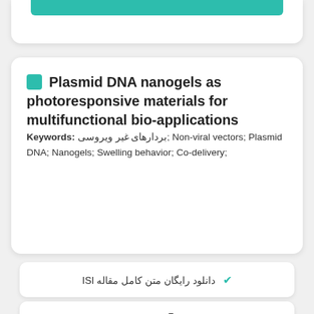Plasmid DNA nanogels as photoresponsive materials for multifunctional bio-applications
Keywords: بردارهای غیر ویروسی; Non-viral vectors; Plasmid DNA; Nanogels; Swelling behavior; Co-delivery;
✔ دانلود رایگان متن کامل مقاله ISI
7 صفحه